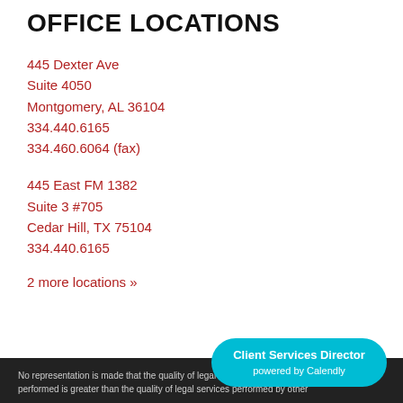OFFICE LOCATIONS
445 Dexter Ave
Suite 4050
Montgomery, AL 36104
334.440.6165
334.460.6064 (fax)
445 East FM 1382
Suite 3 #705
Cedar Hill, TX 75104
334.440.6165
2 more locations »
Client Services Director
powered by Calendly
No representation is made that the quality of legal services performed is greater than the quality of legal services performed by other